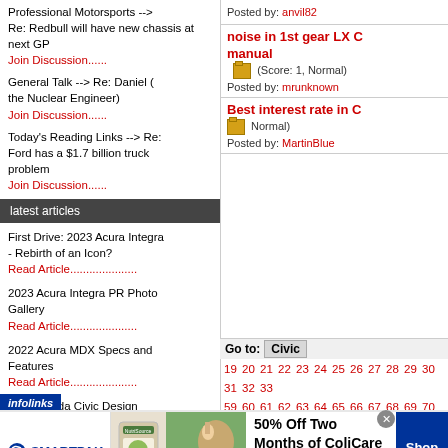Professional Motorsports --> Re: Redbull will have new chassis at next GP
Join Discussion......
General Talk --> Re: Daniel (the Nuclear Engineer)
Join Discussion......
Today's Reading Links --> Re: Ford has a $1.7 billion truck problem
Join Discussion......
latest articles
First Drive: 2023 Acura Integra - Rebirth of an Icon?
Read Article.....................
2023 Acura Integra PR Photo Gallery
Read Article.....................
2022 Acura MDX Specs and Features
Read Article.....................
2022 Honda Civic Design video by Honda
Posted by: anvil82
noise in 1st gear LX C manual (Score: 1, Normal)
Posted by: mrunknown
Best interest rate in C Normal)
Posted by: MartinBlue
Go to: Civic
19 20 21 22 23 24 25 26 27 28 29 30 31 32 33 ... 59 60 61 62 63 64 65 66 67 68 69 70 71 72 73 ... 99 100 101 102 103 104 105 106 107 108 109 ... 128 129 130 131 132 133 134 135 136 137 13 ... 156 157 158 159 160 161 162 163 164 165 16 ... 184 185 186 187 188 189 190 191 192 193 19 ... 212 213 214 215 216 217 218 219 220 221 22 ... 240 241 242 243 244 245 246 247 248 249 25 ... 268 269 270 271 272 273 274 275 276 277 27 ... 296 297 298 299 300 301 302 303 304 305 30
[Figure (infographic): SmartPak advertisement banner: 50% Off Two Months of ColiCare, ColiCare Eligible Supplements, CODE: COLICARE10, Shop Now button, horse photo]